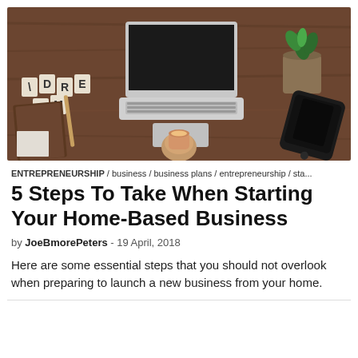[Figure (photo): Overhead flat-lay photo of a wooden desk with a laptop, letter tiles spelling DREAM, a notebook and pen, a small succulent plant, a smartphone, and hands holding a coffee cup.]
ENTREPRENEURSHIP / business / business plans / entrepreneurship / sta...
5 Steps To Take When Starting Your Home-Based Business
by JoeBmorePeters - 19 April, 2018
Here are some essential steps that you should not overlook when preparing to launch a new business from your home.